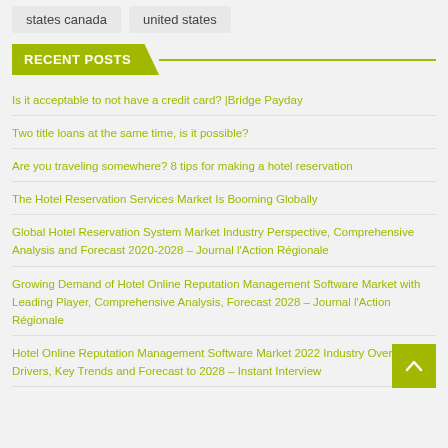states canada
united states
RECENT POSTS
Is it acceptable to not have a credit card? |Bridge Payday
Two title loans at the same time, is it possible?
Are you traveling somewhere? 8 tips for making a hotel reservation
The Hotel Reservation Services Market Is Booming Globally
Global Hotel Reservation System Market Industry Perspective, Comprehensive Analysis and Forecast 2020-2028 – Journal l'Action Régionale
Growing Demand of Hotel Online Reputation Management Software Market with Leading Player, Comprehensive Analysis, Forecast 2028 – Journal l'Action Régionale
Hotel Online Reputation Management Software Market 2022 Industry Overview, Drivers, Key Trends and Forecast to 2028 – Instant Interview